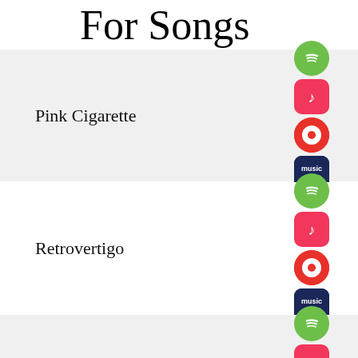For Songs
Pink Cigarette
Retrovertigo
Sweet Charity